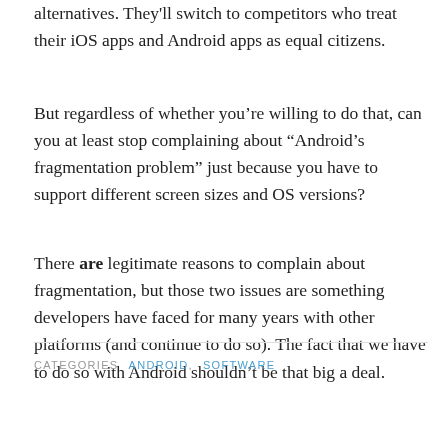alternatives. They'll switch to competitors who treat their iOS apps and Android apps as equal citizens.
But regardless of whether you’re willing to do that, can you at least stop complaining about "Android’s fragmentation problem" just because you have to support different screen sizes and OS versions?
There are legitimate reasons to complain about fragmentation, but those two issues are something developers have faced for many years with other platforms (and continue to do so). The fact that we have to do so with Android shouldn’t be that big a deal.
CATEGORIES  ANDROID, SOFTWARE